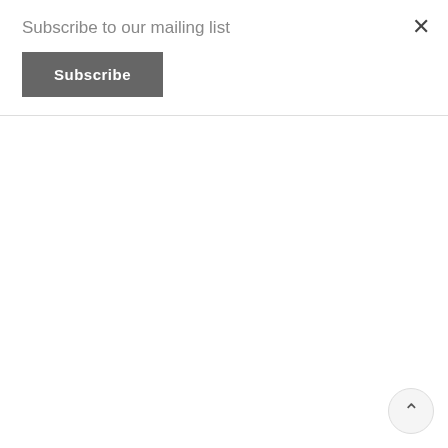Subscribe to our mailing list
Subscribe
Phoenix-Hitarget mostly referred to as Hitarget – Made in China
[Figure (photo): Fashion photo of a female model wearing a green and yellow floral off-shoulder dress with a floral necklace, posing against a background with pink/magenta geometric shapes and a grey wall.]